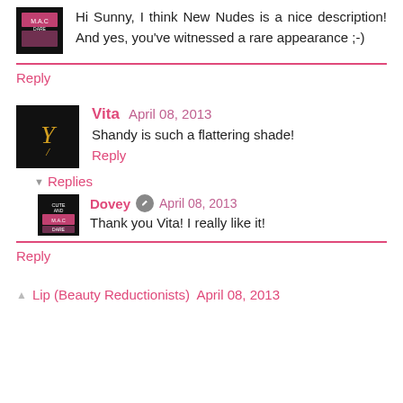Hi Sunny, I think New Nudes is a nice description! And yes, you've witnessed a rare appearance ;-)
Reply
Vita  April 08, 2013
Shandy is such a flattering shade!
Reply
Replies
Dovey  April 08, 2013
Thank you Vita! I really like it!
Reply
Lip (Beauty Reductionists)  April 08, 2013